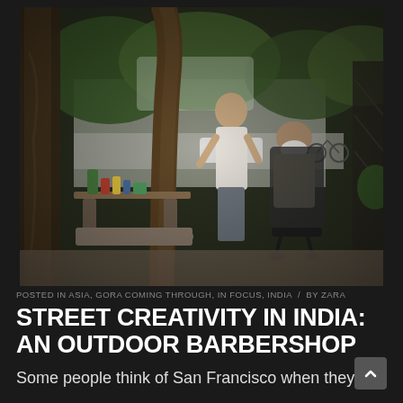[Figure (photo): Outdoor barbershop scene in India. A young man in a white sleeveless shirt is giving a shave to an older man seated in a barber's chair under a large tree. A small wooden table with grooming products (green bottle, colored containers) is visible on the left. A road with a bicycle and car visible in the background, with green trees and buildings.]
POSTED IN ASIA, GORA COMING THROUGH, IN FOCUS, INDIA / BY ZARA
STREET CREATIVITY IN INDIA: AN OUTDOOR BARBERSHOP
Some people think of San Francisco when they think of street creativity, but this is...